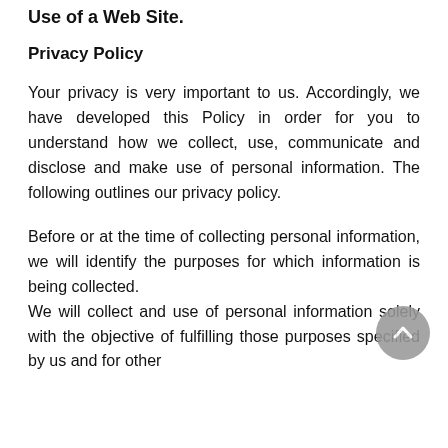Use of a Web Site.
Privacy Policy
Your privacy is very important to us. Accordingly, we have developed this Policy in order for you to understand how we collect, use, communicate and disclose and make use of personal information. The following outlines our privacy policy.
Before or at the time of collecting personal information, we will identify the purposes for which information is being collected.
We will collect and use of personal information solely with the objective of fulfilling those purposes specified by us and for other